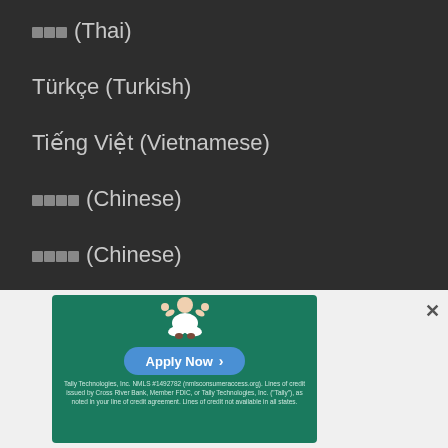ภาษาไทย (Thai)
Türkçe (Turkish)
Tiếng Việt (Vietnamese)
中文（简体） (Chinese)
中文（繁體） (Chinese)
support@weatherspark.com
[Figure (illustration): Advertisement banner for Tally Technologies with a meditating figure illustration, Apply Now button, and legal fine print text. Green background (#1a7a5e). Text: 'Tally Technologies, Inc. NMLS #1492782 (nmlsconsumeraccess.org). Lines of credit issued by Cross River Bank, Member FDIC, or Tally Technologies, Inc. ("Tally"), as noted in your line of credit agreement. Lines of credit not available in all states.']